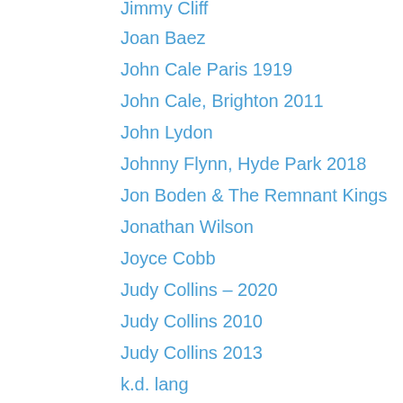Jimmy Cliff
Joan Baez
John Cale Paris 1919
John Cale, Brighton 2011
John Lydon
Johnny Flynn, Hyde Park 2018
Jon Boden & The Remnant Kings
Jonathan Wilson
Joyce Cobb
Judy Collins – 2020
Judy Collins 2010
Judy Collins 2013
k.d. lang
Kiefer Sutherland
King Crimson – 2018
KT Tunstall
Legends: Joanna Lumley, Twiggy, Lulu
Leonard Cohen Aug 2013
Leonard Cohen July 2009
Leonard Cohen Nov. 2008